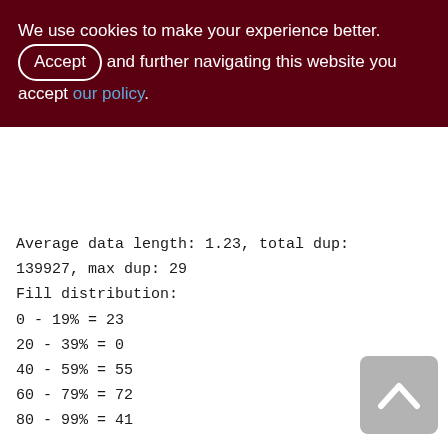We use cookies to make your experience better. By accepting and further navigating this website you accept our policy.
Average data length: 1.23, total dup: 139927, max dup: 29
Fill distribution:
0 - 19% = 23
20 - 39% = 0
40 - 59% = 55
60 - 79% = 72
80 - 99% = 41

XQD_1000_3300 (260)
Primary pointer page: 653, Index root page: 654
Average record length: 52.74, total